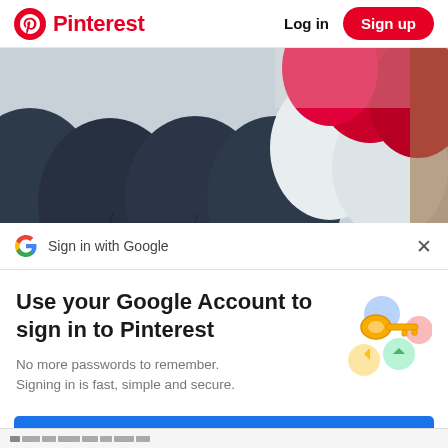Pinterest  Log in  Sign up
[Figure (photo): A close-up photo of navy blue, white, and red balloons arranged together]
Sign in with Google
Use your Google Account to sign in to Pinterest
No more passwords to remember. Signing in is fast, simple and secure.
[Figure (illustration): Google sign-in key illustration with colorful circles and a golden key]
Continue